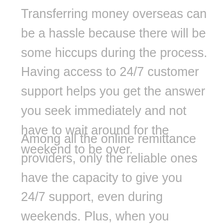Transferring money overseas can be a hassle because there will be some hiccups during the process. Having access to 24/7 customer support helps you get the answer you seek immediately and not have to wait around for the weekend to be over.
Among all the online remittance providers, only the reliable ones have the capacity to give you 24/7 support, even during weekends. Plus, when you transfer funds to a foreign country (especially the less mainstream destinations like Nepal), you need to know that the provider has